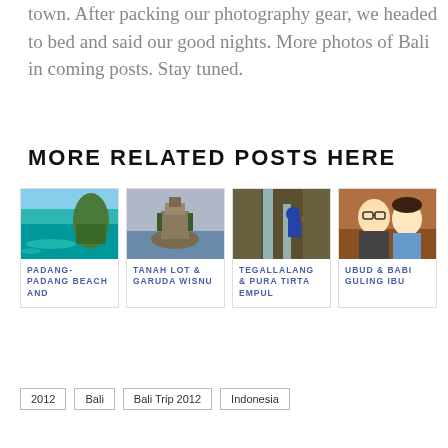town. After packing our photography gear, we headed to bed and said our good nights. More photos of Bali in coming posts. Stay tuned.
MORE RELATED POSTS HERE
[Figure (photo): Padang-Padang Beach coastal rock and turquoise sea]
PADANG-PADANG BEACH AND
[Figure (photo): Tanah Lot temple on rock in sea]
TANAH LOT & GARUDA WISNU
[Figure (photo): Tegallalang water falls with people]
TEGALLALANG & PURA TIRTA EMPUL
[Figure (photo): Couple smiling selfie at Ubud]
UBUD & BABI GULING IBU
2012
Bali
Bali Trip 2012
Indonesia